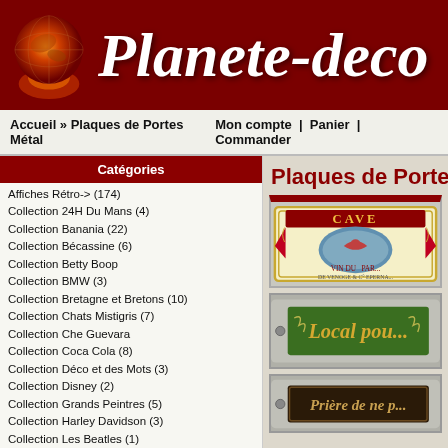Planete-deco
Accueil » Plaques de Portes Métal | Mon compte | Panier | Commander
Catégories
Affiches Rétro-> (174)
Collection 24H Du Mans (4)
Collection Banania (22)
Collection Bécassine (6)
Collection Betty Boop
Collection BMW (3)
Collection Bretagne et Bretons (10)
Collection Chats Mistigris (7)
Collection Che Guevara
Collection Coca Cola (8)
Collection Déco et des Mots (3)
Collection Disney (2)
Collection Grands Peintres (5)
Collection Harley Davidson (3)
Collection Les Beatles (1)
Collection Les Chats DUBOUT (114)
Collection Licence IV (4)
Collection LU Lefevre Utile (42)
Collection Made in London (21)
Collection Marilyn Monroe (7)
Collection Petit Prince (78)
Collection Petites Cocottes (81)
Collection Pneus Michelin (10)
Collection Tournee du Chat Noir (33)
Collection Vache qui rit (22)
Collection VOLKSWAGEN (3)
Décapsuleurs Pub Rétro
Décoration (2)
Plaques de Portes Mé...
[Figure (photo): Metal door plaque with wine label design - CAVE, VIN DU PAR..., DE VENOGE & C° EPERNA...]
[Figure (photo): Green metal door plaque reading 'Local pou...']
[Figure (photo): Dark metal door plaque reading 'Prière de ne p...']